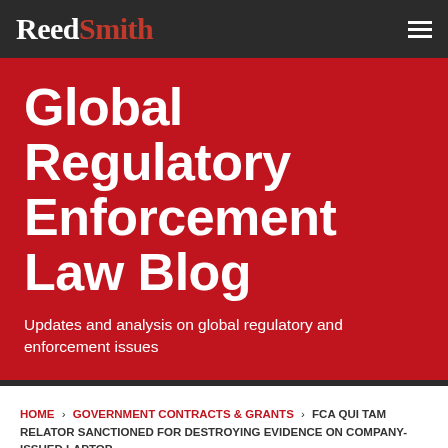Reed Smith
Global Regulatory Enforcement Law Blog
Updates and analysis on global regulatory and enforcement issues
HOME › GOVERNMENT CONTRACTS & GRANTS › FCA QUI TAM RELATOR SANCTIONED FOR DESTROYING EVIDENCE ON COMPANY-ISSUED LAPTOP